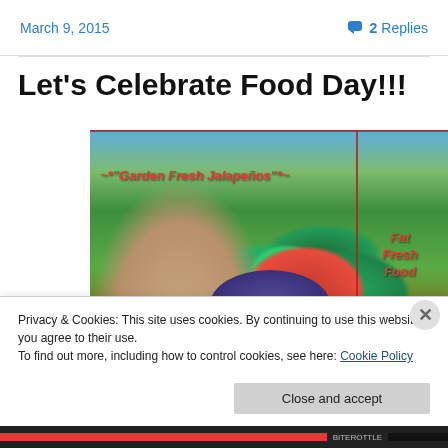March 9, 2015   💬 2 Replies
Let's Celebrate Food Day!!!
[Figure (photo): Photo of garden fresh jalapeños in a bowl held by someone, with red text overlays reading '~*"Garden Fresh Jalapeños"*~' and 'Fat Fresh Food', red border lines dividing the image]
Privacy & Cookies: This site uses cookies. By continuing to use this website, you agree to their use.
To find out more, including how to control cookies, see here: Cookie Policy
Close and accept